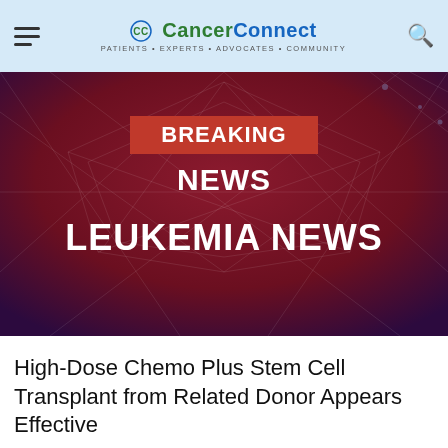CancerConnect — Patients • Experts • Advocates • Community
[Figure (illustration): Breaking News - Leukemia News hero image with dark red polygonal geometric background. Center top: red rectangle badge reading BREAKING NEWS in white bold text. Below: white bold text reading NEWS. Lower portion: large white bold text reading LEUKEMIA NEWS.]
High-Dose Chemo Plus Stem Cell Transplant from Related Donor Appears Effective